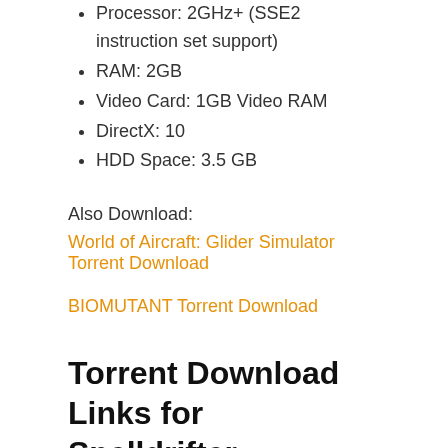Processor: 2GHz+ (SSE2 instruction set support)
RAM: 2GB
Video Card: 1GB Video RAM
DirectX: 10
HDD Space: 3.5 GB
Also Download:
World of Aircraft: Glider Simulator Torrent Download
BIOMUTANT Torrent Download
Torrent Download Links for Spelldrifter
FitGirl Repacks Download Size: 2.1 GB